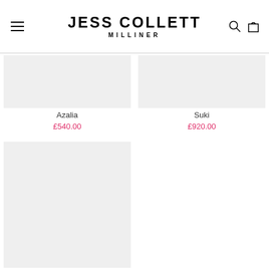JESS COLLETT MILLINER
Azalia
£540.00
Suki
£920.00
[Figure (photo): Product image placeholder for Azalia hat]
[Figure (photo): Product image placeholder for second item (bottom left)]